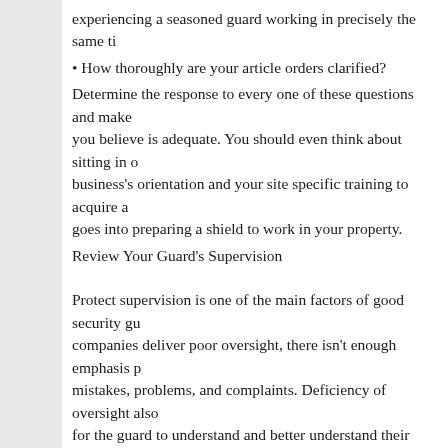experiencing a seasoned guard working in precisely the same ti
• How thoroughly are your article orders clarified?
Determine the response to every one of these questions and make you believe is adequate. You should even think about sitting in o business's orientation and your site specific training to acquire a goes into preparing a shield to work in your property.
Review Your Guard's Supervision
Protect supervision is one of the main factors of good security gu companies deliver poor oversight, there isn't enough emphasis p mistakes, problems, and complaints. Deficiency of oversight also for the guard to understand and better understand their duties. If supervised, they start to feel that their job isn't important and the less of a part of the security team. When guards don't feel like pa contributes to unacceptable practices like unprofessional behavio Depending on the structure of your contract, on-site supervisors contract does not demand on-site supervision, how does your sec oversee its defenses? Outside the Standard security firm field sup methods of distant oversight that prove most successful are: